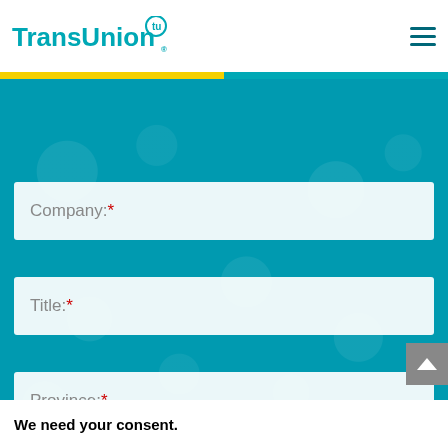TransUnion
[Figure (screenshot): TransUnion form with fields: Company (required), Title (required), Province dropdown (required), Industry dropdown (required), on teal background]
We need your consent.